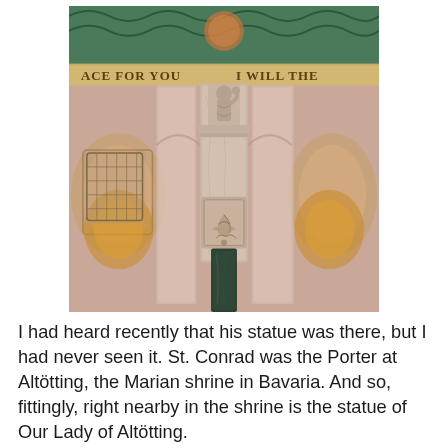[Figure (photo): Interior architectural photo showing a carved stone column or pillar with ornate decorative relief panels, set against marble walls with arched niches. At the top of the image, a mosaic or fresco is visible with text reading 'ACE FOR YOU' and 'I WILL THE'. The pillar features a carved figure at the top and an intricate leaf/floral motif panel below, with a dark green marble base. To the sides are arched alcoves with gilded and ornamental elements.]
I had heard recently that his statue was there, but I had never seen it. St. Conrad was the Porter at Altötting, the Marian shrine in Bavaria. And so, fittingly, right nearby in the shrine is the statue of Our Lady of Altötting.